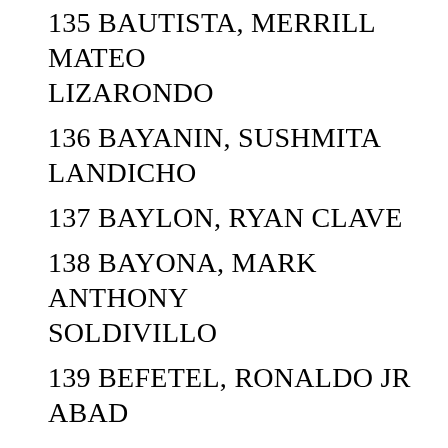135 BAUTISTA, MERRILL MATEO LIZARONDO
136 BAYANIN, SUSHMITA LANDICHO
137 BAYLON, RYAN CLAVE
138 BAYONA, MARK ANTHONY SOLDIVILLO
139 BEFETEL, RONALDO JR ABAD
140 BELLENO, RUDY REY MAGCANTA
141 BELLO, ANALYN MORADO
142 BELLO, JUNE RONHEL ORTIZ
143 BELTRAN, EMANUEL FERNANDEZ
144 BENEDICTO, KAYZEL BIANCA